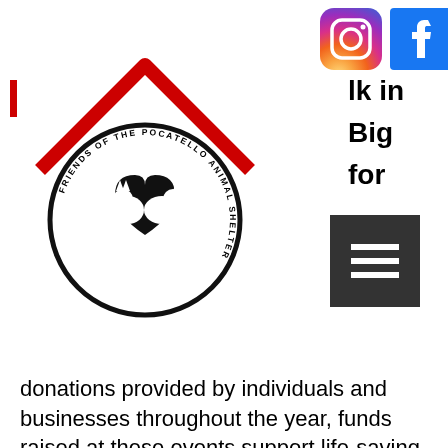[Figure (logo): Friends of the Pocatello Animal Shelter logo: red house outline with a circle containing a heart with cat and dog silhouettes, circular text reading FRIENDS OF THE POCATELLO ANIMAL SHELTER]
[Figure (illustration): Instagram icon (colorful gradient camera icon) and Facebook icon (blue square with white f)]
lk in Big for
[Figure (illustration): Dark gray/black hamburger menu button with three white horizontal lines]
donations provided by individuals and businesses throughout the year, funds raised at these events support life-saving programs such as the Second Chance Fund, Cell Dog program, Katie's Old Friends, Pocatello Pets 4 Vets, and Special Adoption Fee Subsidies.
These funds are also used to